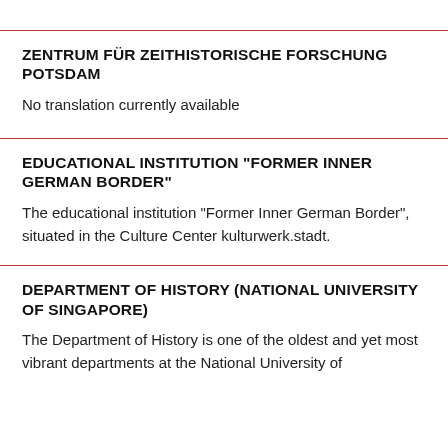ZENTRUM FÜR ZEITHISTORISCHE FORSCHUNG POTSDAM
No translation currently available
EDUCATIONAL INSTITUTION "FORMER INNER GERMAN BORDER"
The educational institution "Former Inner German Border", situated in the Culture Center kulturwerk.stadt.
DEPARTMENT OF HISTORY (NATIONAL UNIVERSITY OF SINGAPORE)
The Department of History is one of the oldest and yet most vibrant departments at the National University of